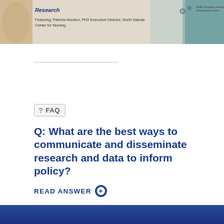[Figure (photo): Banner image with a nursing/healthcare professional photo, gear icons, and organization logo. Text reads: Research (italic). Featuring: Patricia Moulton, PhD Executive Director, North Dakota Center for Nursing.]
? FAQ
Q: What are the best ways to communicate and disseminate research and data to inform policy?
READ ANSWER +